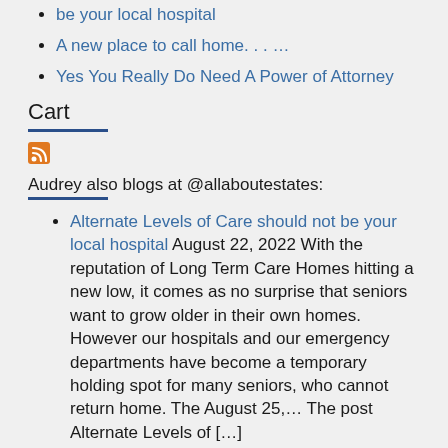be your local hospital
A new place to call home. . . …
Yes You Really Do Need A Power of Attorney
Cart
[Figure (other): RSS feed icon - orange square with white RSS symbol]
Audrey also blogs at @allaboutestates:
Alternate Levels of Care should not be your local hospital August 22, 2022 With the reputation of Long Term Care Homes hitting a new low, it comes as no surprise that seniors want to grow older in their own homes.  However our hospitals and our emergency departments have become a temporary holding spot for many seniors, who cannot return home.   The August 25,… The post Alternate Levels of […]